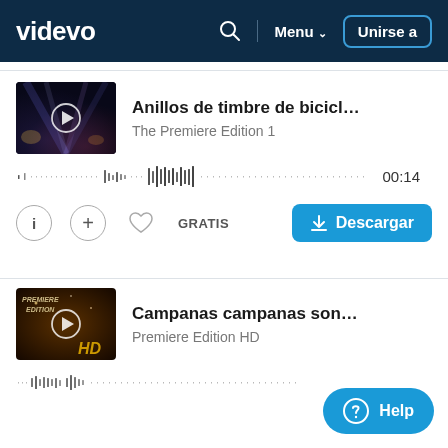videvo — Menu — Unirse a
[Figure (screenshot): Videvo website screenshot showing audio tracks with waveforms, thumbnails, and download buttons]
Anillos de timbre de bicicleta Sm PE1907...
The Premiere Edition 1
00:14
GRATIS
Descargar
Campanas campanas sonando tubos PEH...
Premiere Edition HD
Help